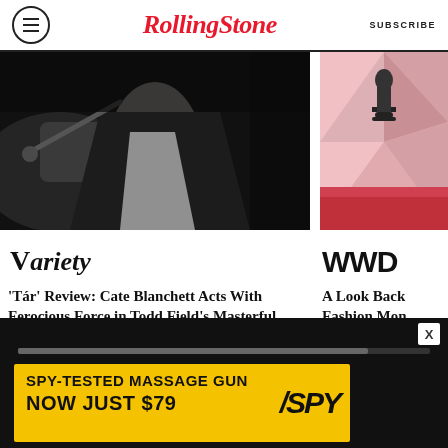RollingStone  SUBSCRIBE
[Figure (photo): Dark photo of a conductor holding a baton, wearing a black jacket]
[Figure (logo): Variety logo in italic serif font]
'Tár' Review: Cate Blanchett Acts With Ferocious Force in Todd Field's Masterful Drama About a Celebrity Conductor
4 HOURS AGO
[Figure (photo): Red carpet event photo with Oscar statue silhouette on pink geometric background]
[Figure (logo): WWD logo in bold black sans-serif]
A Look Back Fashion Mon
3 HOURS AGO
[Figure (infographic): Advertisement: SPY-TESTED MASSAGE GUN NOW JUST $79 with SPY logo on yellow background]